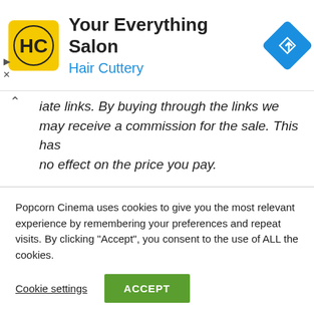[Figure (logo): Hair Cuttery advertisement banner with HC logo, text 'Your Everything Salon / Hair Cuttery', and blue navigation diamond icon]
iate links. By buying through the links we may receive a commission for the sale. This has no effect on the price you pay.
The Odessa File (1974) Film Trailer
Popcorn Cinema uses cookies to give you the most relevant experience by remembering your preferences and repeat visits. By clicking "Accept", you consent to the use of ALL the cookies.
Cookie settings  ACCEPT